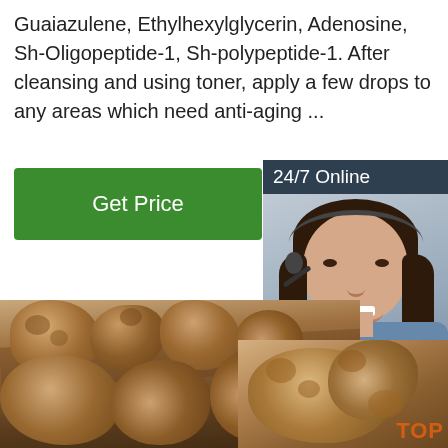Guaiazulene, Ethylhexylglycerin, Adenosine, Sh-Oligopeptide-1, Sh-polypeptide-1. After cleansing and using toner, apply a few drops to any areas which need anti-aging ...
[Figure (other): Green 'Get Price' button on the left; sidebar panel on the right with '24/7 Online' header, photo of a smiling woman with headset, 'Click here for free chat!' text, and orange 'QUOTATION' button]
[Figure (photo): Close-up photograph of maca roots (Peruvian ginseng) on a wooden board, with additional maca roots in the foreground and lower right, showing textured brown knobbly surface. Orange 'TOP' watermark visible in lower right.]